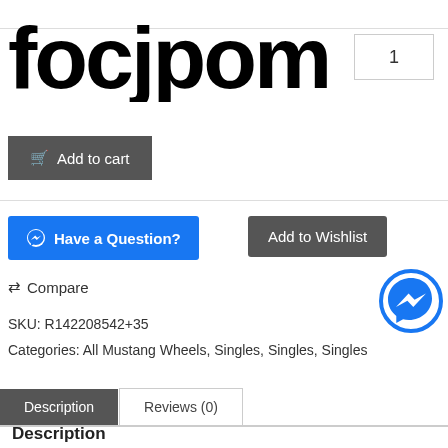[Figure (logo): Partial logo text in large bold black font (cut off at top)]
1
Add to cart
Have a Question?
Add to Wishlist
Compare
SKU: R142208542+35
Categories: All Mustang Wheels, Singles, Singles, Singles
Description
Reviews (0)
Description